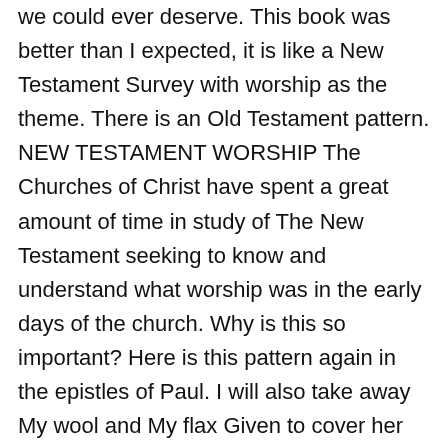we could ever deserve. This book was better than I expected, it is like a New Testament Survey with worship as the theme. There is an Old Testament pattern. NEW TESTAMENT WORSHIP The Churches of Christ have spent a great amount of time in study of The New Testament seeking to know and understand what worship was in the early days of the church. Why is this so important? Here is this pattern again in the epistles of Paul. I will also take away My wool and My flax Given to cover her nakedness. Philippians 3:3 (KJV) 3 For we are the circumcision, which worship God in the spirit, and rejoice in Christ Jesus, and have no confidence in the flesh. 9:11-14; 10:1-14); therefore, we need never make such sacrifices to God again. 13 New Testament Passages on Worship. Dr. John Piper discusses the Old Testament's usage for worship in the New Testament. “Worship” is a slight misnomer in Old Testament or Hebrew Bible studies. 2:5